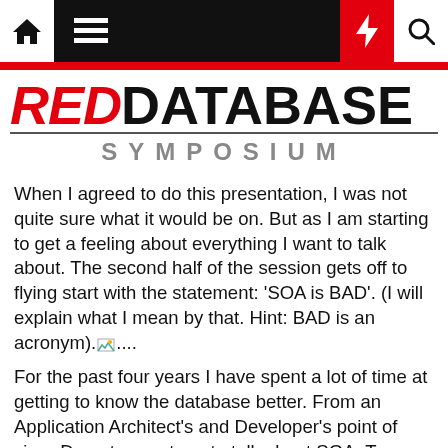[Figure (screenshot): Website navigation bar with home icon, hamburger menu, red lightning bolt, and search icon on dark background]
[Figure (logo): Red Database Symposium logo — RED in red italic, DATABASE in black bold, SYMPOSIUM in grey spaced letters below a rule]
When I agreed to do this presentation, I was not quite sure what it would be on. But as I am starting to get a feeling about everything I want to talk about. The second half of the session gets off to flying start with the statement: 'SOA is BAD'. (I will explain what I mean by that. Hint: BAD is an acronym)....
For the past four years I have spent a lot of time at getting to know the database better. From an Application Architect's and Developer's point of view. Do not expect me to talk about SGA, Trace